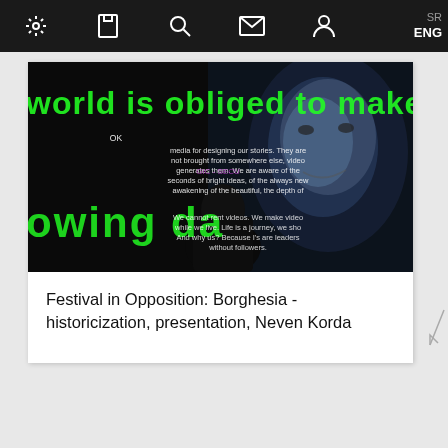SR ENG
[Figure (photo): A dark performance/projection scene showing a face illuminated in blue-white, overlaid with green large text 'world is obliged to make yo' and 'owing da', and white body text on a dark background reading about video media, bright ideas, and journeys. A silhouetted figure stands in front.]
Festival in Opposition: Borghesia - historicization, presentation, Neven Korda